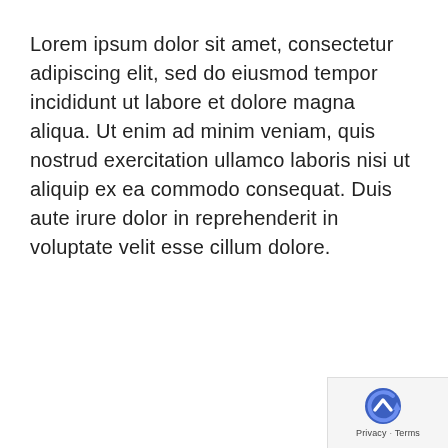Lorem ipsum dolor sit amet, consectetur adipiscing elit, sed do eiusmod tempor incididunt ut labore et dolore magna aliqua. Ut enim ad minim veniam, quis nostrud exercitation ullamco laboris nisi ut aliquip ex ea commodo consequat. Duis aute irure dolor in reprehenderit in voluptate velit esse cillum dolore.
[Figure (logo): Blue circular Google-style refresh/back arrow icon with a white upward chevron in the center, followed by 'Privacy' and 'Terms' text links]